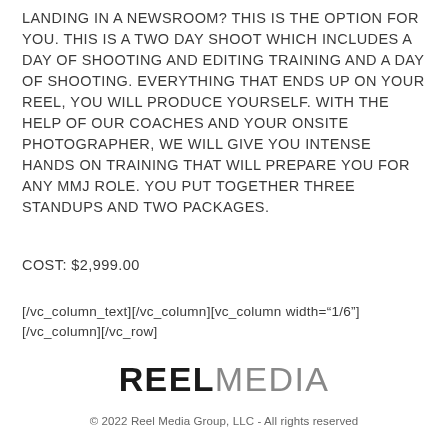LANDING IN A NEWSROOM? THIS IS THE OPTION FOR YOU. THIS IS A TWO DAY SHOOT WHICH INCLUDES A DAY OF SHOOTING AND EDITING TRAINING AND A DAY OF SHOOTING. EVERYTHING THAT ENDS UP ON YOUR REEL, YOU WILL PRODUCE YOURSELF. WITH THE HELP OF OUR COACHES AND YOUR ONSITE PHOTOGRAPHER, WE WILL GIVE YOU INTENSE HANDS ON TRAINING THAT WILL PREPARE YOU FOR ANY MMJ ROLE. YOU PUT TOGETHER THREE STANDUPS AND TWO PACKAGES.
COST: $2,999.00
[/vc_column_text][/vc_column][vc_column width="1/6"] [/vc_column][/vc_row]
[Figure (logo): REEL MEDIA logo in bold black (REEL) and gray (MEDIA) sans-serif text]
© 2022 Reel Media Group, LLC - All rights reserved